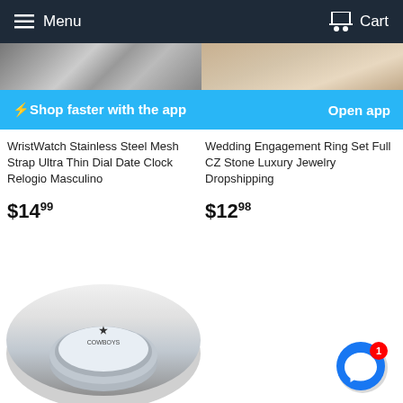Menu  Cart
[Figure (photo): Two product images side by side: left shows a stainless steel mesh watch strap/dial, right shows a ring or jewelry item on skin]
⚡Shop faster with the app   Open app
WristWatch Stainless Steel Mesh Strap Ultra Thin Dial Date Clock Relogio Masculino
$14.99
Wedding Engagement Ring Set Full CZ Stone Luxury Jewelry Dropshipping
$12.98
[Figure (photo): A silver Dallas Cowboys engraved ring with star logo and COWBOYS text, partially visible at bottom of page]
[Figure (illustration): Facebook Messenger floating button with notification badge showing 1]